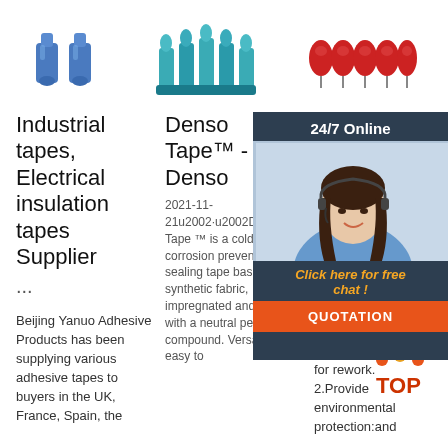[Figure (photo): Three product images: blue connectors/terminals, teal/blue multi-pin connectors, and red round components lined up]
Industrial tapes, Electrical insulation tapes Supplier

...

Beijing Yanuo Adhesive Products has been supplying various adhesive tapes to buyers in the UK, France, Spain, the
Denso Tape™ - Denso

2021-11-21u2002·u2002Denso Tape ™ is a cold-applied corrosion prevention and sealing tape based on a synthetic fabric, impregnated and coated with a neutral petrolatum compound. Versatile, easy to
1/Ro MX4 safe War Stic Dan Cau
1.Isola tape:landmark warning, safety landmark marking for rework. 2.Provide environmental protection:and
[Figure (photo): 24/7 Online chat widget with woman wearing headset, orange QUOTATION button]
[Figure (logo): TOP badge with orange dots]